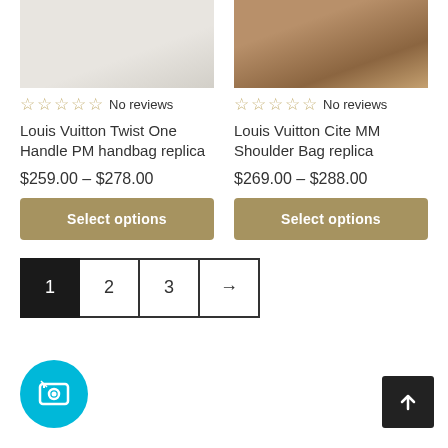[Figure (photo): Top portion of a Louis Vuitton Twist One Handle PM handbag replica product photo, partially cropped]
[Figure (photo): Top portion of a Louis Vuitton Cite MM Shoulder Bag replica product photo with monogram pattern, partially cropped]
☆☆☆☆☆ No reviews
☆☆☆☆☆ No reviews
Louis Vuitton Twist One Handle PM handbag replica
$259.00 – $278.00
Select options
Louis Vuitton Cite MM Shoulder Bag replica
$269.00 – $288.00
Select options
1
2
3
→